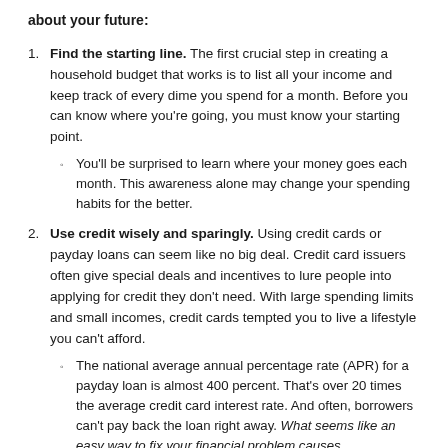about your future:
Find the starting line. The first crucial step in creating a household budget that works is to list all your income and keep track of every dime you spend for a month. Before you can know where you're going, you must know your starting point.
You'll be surprised to learn where your money goes each month. This awareness alone may change your spending habits for the better.
Use credit wisely and sparingly. Using credit cards or payday loans can seem like no big deal. Credit card issuers often give special deals and incentives to lure people into applying for credit they don't need. With large spending limits and small incomes, credit cards tempted you to live a lifestyle you can't afford.
The national average annual percentage rate (APR) for a payday loan is almost 400 percent. That's over 20 times the average credit card interest rate. And often, borrowers can't pay back the loan right away. What seems like an easy way to fix your financial problem causes overwhelming debt that hurts you even more in the long run.